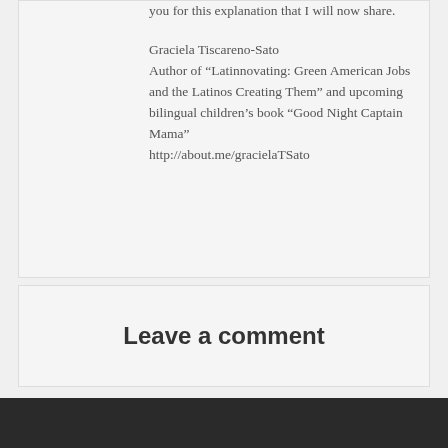you for this explanation that I will now share.
Graciela Tiscareno-Sato
Author of “Latinovating: Green American Jobs and the Latinos Creating Them” and upcoming bilingual children’s book “Good Night Captain Mama”
http://about.me/gracielaTSato
Leave a comment